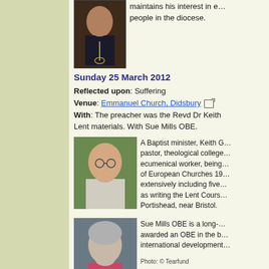[Figure (photo): Portrait photo of a person wearing a cross necklace, dark background]
maintains his interest in e… people in the diocese.
Sunday 25 March 2012
Reflected upon: Suffering
Venue: Emmanuel Church, Didsbury
With: The preacher was the Revd Dr Keith Lent materials. With Sue Mills OBE.
[Figure (photo): Portrait photo of a bald older man with glasses, outdoors with greenery behind]
A Baptist minister, Keith G… pastor, theological college… ecumenical worker, being… of European Churches 19… extensively including five… as writing the Lent Cours… Portishead, near Bristol.
[Figure (photo): Portrait photo of a woman with short grey hair wearing a pink top]
Sue Mills OBE is a long-… awarded an OBE in the b… international development…
Photo: © Tearfund